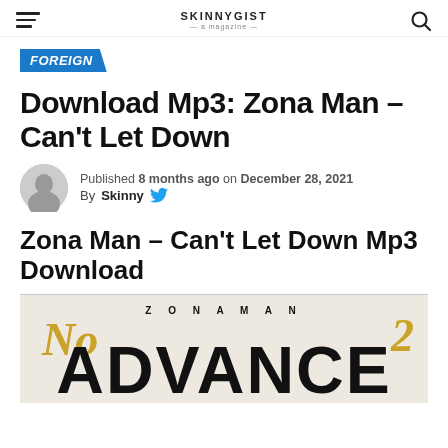SKINNYGIST
FOREIGN
Download Mp3: Zona Man - Can't Let Down
Published 8 months ago on December 28, 2021
By Skinny
Zona Man – Can't Let Down Mp3 Download
[Figure (photo): Zona Man album artwork showing 'ZONA MAN' text at top in spaced letters, large bold 'ADVANCE' text at bottom, with gold script lettering overlay on a light beige background.]